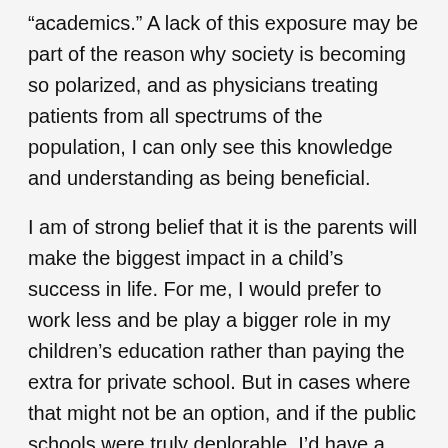“academics.” A lack of this exposure may be part of the reason why society is becoming so polarized, and as physicians treating patients from all spectrums of the population, I can only see this knowledge and understanding as being beneficial.
I am of strong belief that it is the parents will make the biggest impact in a child’s success in life. For me, I would prefer to work less and be play a bigger role in my children’s education rather than paying the extra for private school. But in cases where that might not be an option, and if the public schools were truly deplorable, I’d have a tough time with this decision too!